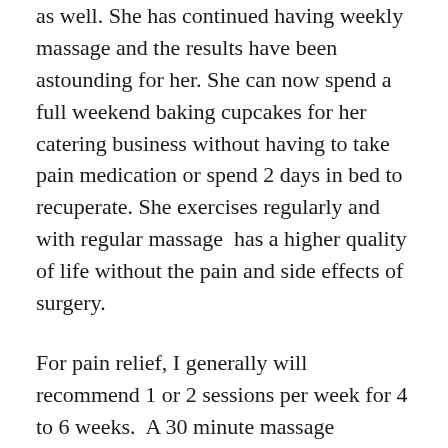as well. She has continued having weekly massage and the results have been astounding for her. She can now spend a full weekend baking cupcakes for her catering business without having to take pain medication or spend 2 days in bed to recuperate. She exercises regularly and with regular massage  has a higher quality of life without the pain and side effects of surgery.
For pain relief, I generally will recommend 1 or 2 sessions per week for 4 to 6 weeks.  A 30 minute massage concentrated on the neck, shoulders and back can be effective. Often, the issue that causes back or neck pain may have started with a foot or ankle injury from long ago that caused an imbalance in walking and standing for many years. So for many of our clients, a 55 minute full body session will uncover those